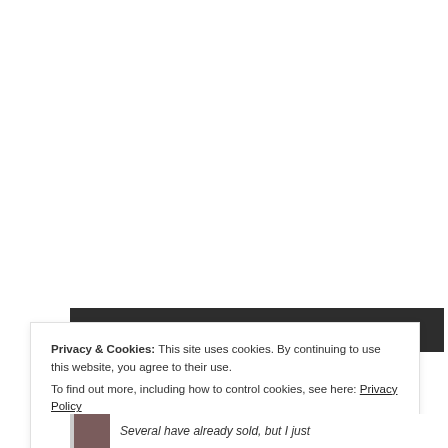FOLLOW ME ON TWITTER
Privacy & Cookies: This site uses cookies. By continuing to use this website, you agree to their use.
To find out more, including how to control cookies, see here: Privacy Policy
Close and accept
Several have already sold, but I just